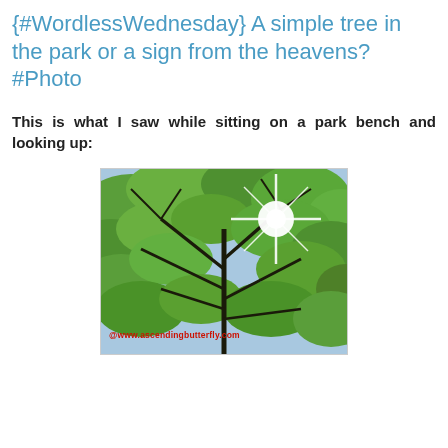{#WordlessWednesday} A simple tree in the park or a sign from the heavens? #Photo
This is what I saw while sitting on a park bench and looking up:
[Figure (photo): A photo taken looking up through tree branches with green leaves, with a bright starburst of sunlight visible through the canopy. Watermark reads @www.ascendingbutterfly.com]